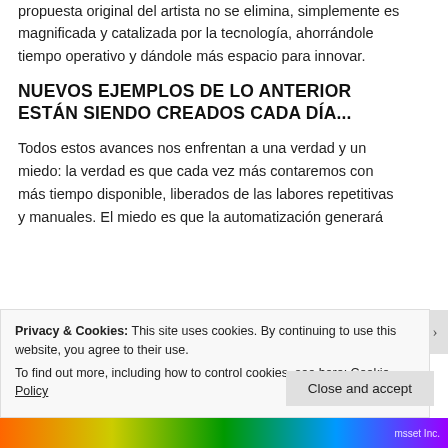propuesta original del artista no se elimina, simplemente es magnificada y catalizada por la tecnología, ahorrándole tiempo operativo y dándole más espacio para innovar.
NUEVOS EJEMPLOS DE LO ANTERIOR ESTÁN SIENDO CREADOS CADA DÍA...
Todos estos avances nos enfrentan a una verdad y un miedo: la verdad es que cada vez más contaremos con más tiempo disponible, liberados de las labores repetitivas y manuales. El miedo es que la automatización generará
Privacy & Cookies: This site uses cookies. By continuing to use this website, you agree to their use.
To find out more, including how to control cookies, see here: Cookie Policy
Close and accept